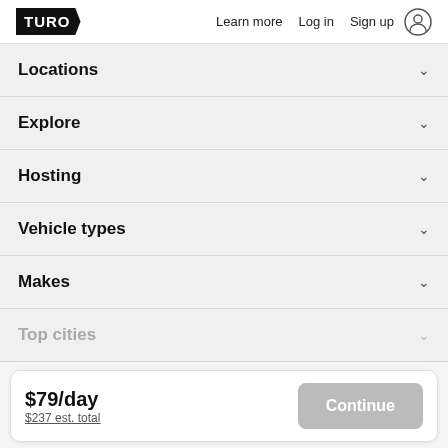TURO  Learn more  Log in  Sign up
Locations
Explore
Hosting
Vehicle types
Makes
Top cities
$79/day  $237 est. total  Continue